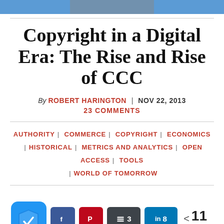[Figure (photo): Top banner image, partially cropped, blue background]
Copyright in a Digital Era: The Rise and Rise of CCC
By ROBERT HARINGTON | NOV 22, 2013
23 COMMENTS
AUTHORITY | COMMERCE | COPYRIGHT | ECONOMICS | HISTORICAL | METRICS AND ANALYTICS | OPEN ACCESS | TOOLS | WORLD OF TOMORROW
[Figure (infographic): Social share buttons: shield icon, Facebook, Pinterest, Buffer (3), LinkedIn (8), share count 11 SHARES]